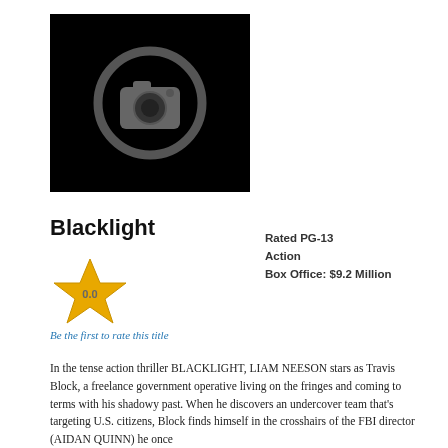[Figure (photo): Black placeholder image with a grey camera icon (circle with camera silhouette in the center)]
Blacklight
[Figure (infographic): Yellow/gold star rating icon with '0.0' text inside]
Be the first to rate this title
Rated PG-13
Action
Box Office: $9.2 Million
In the tense action thriller BLACKLIGHT, LIAM NEESON stars as Travis Block, a freelance government operative living on the fringes and coming to terms with his shadowy past. When he discovers an undercover team that's targeting U.S. citizens, Block finds himself in the crosshairs of the FBI director (AIDAN QUINN) he once